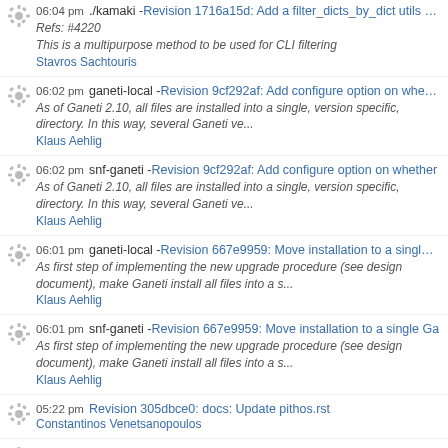06:04 pm ./kamaki - Revision 1716a15d: Add a filter_dicts_by_dict utils me
Refs: #4220
This is a multipurpose method to be used for CLI filtering
Stavros Sachtouris
06:02 pm ganeti-local - Revision 9cf292af: Add configure option on whethe
As of Ganeti 2.10, all files are installed into a single, version specific, directory. In this way, several Ganeti ve...
Klaus Aehlig
06:02 pm snf-ganeti - Revision 9cf292af: Add configure option on whether
As of Ganeti 2.10, all files are installed into a single, version specific, directory. In this way, several Ganeti ve...
Klaus Aehlig
06:01 pm ganeti-local - Revision 667e9959: Move installation to a single G
As first step of implementing the new upgrade procedure (see design document), make Ganeti install all files into a s...
Klaus Aehlig
06:01 pm snf-ganeti - Revision 667e9959: Move installation to a single Ga
As first step of implementing the new upgrade procedure (see design document), make Ganeti install all files into a s...
Klaus Aehlig
05:22 pm Revision 305dbce0: docs: Update pithos.rst
Constantinos Venetsanopoulos
05:22 pm Revision 3a0ce98e: docs: Update index page & Astakos related
* Update index page
* Rewrite the Astakos description in astakos.rst
* Move useful info from astakos.rst to the Adm...
Constantinos Venetsanopoulos